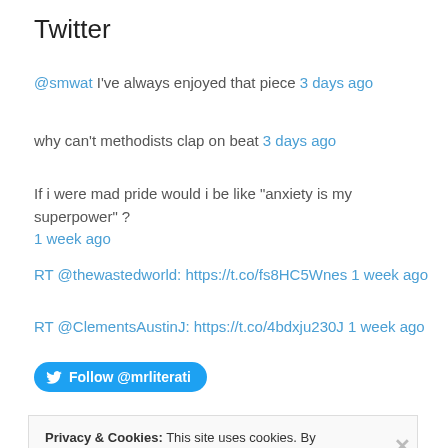Twitter
@smwat I've always enjoyed that piece 3 days ago
why can't methodists clap on beat 3 days ago
If i were mad pride would i be like "anxiety is my superpower" ? 1 week ago
RT @thewastedworld: https://t.co/fs8HC5Wnes 1 week ago
RT @ClementsAustinJ: https://t.co/4bdxju230J 1 week ago
Follow @mrliterati
Privacy & Cookies: This site uses cookies. By continuing to use this website, you agree to their use. To find out more, including how to control cookies, see here: Cookie Policy
Close and accept